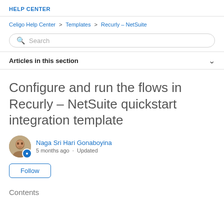HELP CENTER
Celigo Help Center > Templates > Recurly – NetSuite
Search
Articles in this section
Configure and run the flows in Recurly – NetSuite quickstart integration template
Naga Sri Hari Gonaboyina
5 months ago · Updated
Follow
Contents